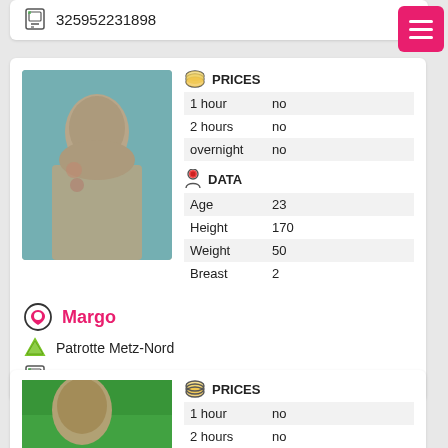325952231898
[Figure (photo): Profile photo of woman named Margo in water]
|  | PRICES |  |
| --- | --- | --- |
| 1 hour | no |
| 2 hours | no |
| overnight | no |
|  | DATA |  |
| --- | --- | --- |
| Age | 23 |
| Height | 170 |
| Weight | 50 |
| Breast | 2 |
Margo
Patrotte Metz-Nord
32481826088
|  | PRICES |  |
| --- | --- | --- |
| 1 hour | no |
| 2 hours | no |
| overnight | no |
[Figure (photo): Profile photo of woman with dark hair on green background]